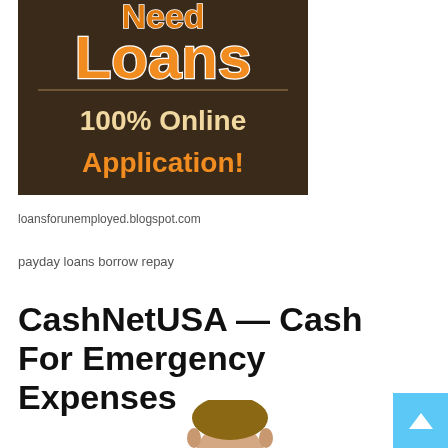[Figure (illustration): Dark brown background advertisement banner showing 'Need Loans' in orange stylized text at top, '100% Online Application!' in cream/orange text below]
loansforunemployed.blogspot.com
payday loans borrow repay
CashNetUSA — Cash For Emergency Expenses
[Figure (photo): Bottom portion of a man's head/face, partial portrait photo]